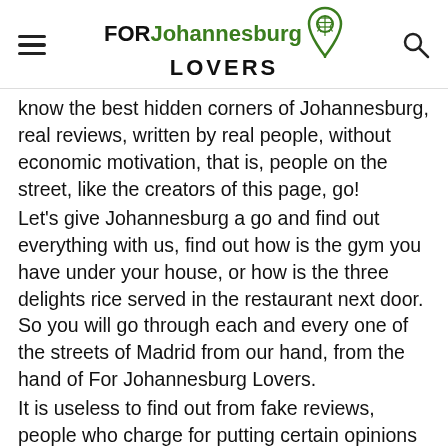FOR Johannesburg LOVERS
know the best hidden corners of Johannesburg, real reviews, written by real people, without economic motivation, that is, people on the street, like the creators of this page, go!
Let's give Johannesburg a go and find out everything with us, find out how is the gym you have under your house, or how is the three delights rice served in the restaurant next door. So you will go through each and every one of the streets of Madrid from our hand, from the hand of For Johannesburg Lovers.
It is useless to find out from fake reviews, people who charge for putting certain opinions and influenced actions that have nothing to do with what you are looking for. You are looking for real opinions, you are looking for a complete Johannesburg experience, and you are looking